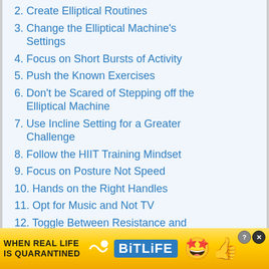2. Create Elliptical Routines
3. Change the Elliptical Machine's Settings
4. Focus on Short Bursts of Activity
5. Push the Known Exercises
6. Don't be Scared of Stepping off the Elliptical Machine
7. Use Incline Setting for a Greater Challenge
8. Follow the HIIT Training Mindset
9. Focus on Posture Not Speed
10. Hands on the Right Handles
11. Opt for Music and Not TV
12. Toggle Between Resistance and
[Figure (screenshot): BitLife advertisement banner with text 'WHEN REAL LIFE IS QUARANTINED' and BitLife logo with emoji characters]